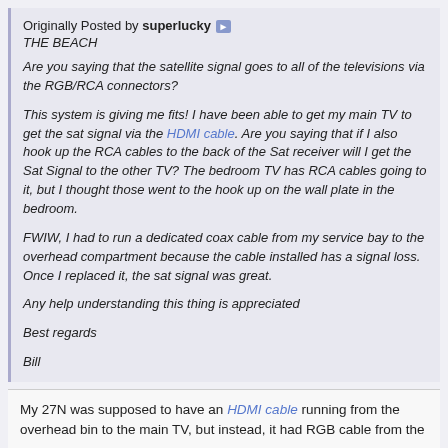Originally Posted by superlucky [arrow] THE BEACH

Are you saying that the satellite signal goes to all of the televisions via the RGB/RCA connectors?

This system is giving me fits! I have been able to get my main TV to get the sat signal via the HDMI cable. Are you saying that if I also hook up the RCA cables to the back of the Sat receiver will I get the Sat Signal to the other TV? The bedroom TV has RCA cables going to it, but I thought those went to the hook up on the wall plate in the bedroom.

FWIW, I had to run a dedicated coax cable from my service bay to the overhead compartment because the cable installed has a signal loss. Once I replaced it, the sat signal was great.

Any help understanding this thing is appreciated

Best regards

Bill
My 27N was supposed to have an HDMI cable running from the overhead bin to the main TV, but instead, it had RGB cable from the